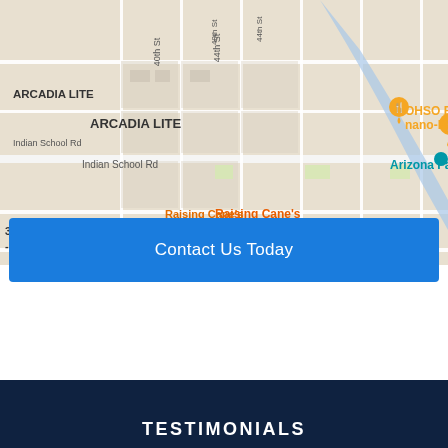[Figure (map): Google Maps partial view showing Arcadia Lite neighborhood in Phoenix, Arizona. Visible locations include OHSO Eatery & nano-Brewery (orange map pin), Arizona Falls, Raising Cane's Chicken Fingers, Indian School Rd, 40th St, 44th St, and Back Village area labels.]
Contact Us Today
TESTIMONIALS